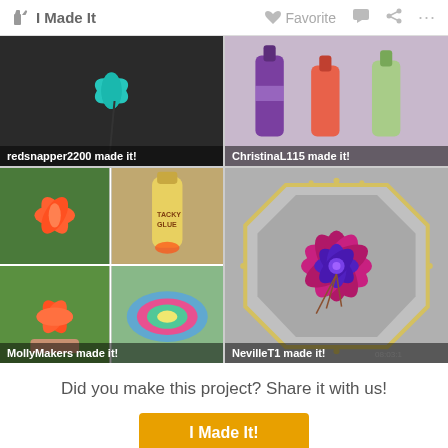I Made It    Favorite   ...
[Figure (photo): Photo of teal wire flower on dark background, labeled 'redsnapper2200 made it!']
[Figure (photo): Photo of nail polish bottles in purple, coral and green colors, labeled 'ChristinaL115 made it!']
[Figure (photo): Collage of four photos showing orange flower petals in hand, tacky glue bottle, white flowers on surface, and painted bowl, labeled 'MollyMakers made it!']
[Figure (photo): Photo of purple flower made of spoons on octagonal silver tray, labeled 'NevilleT1 made it!']
Did you make this project? Share it with us!
I Made It!